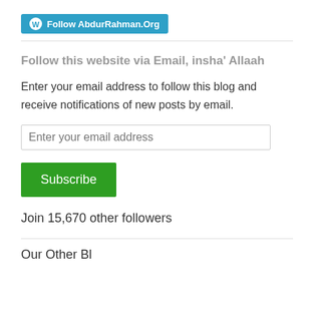[Figure (logo): WordPress Follow button with W logo and text 'Follow AbdurRahman.Org' on a teal/blue background]
Follow this website via Email, insha' Allaah
Enter your email address to follow this blog and receive notifications of new posts by email.
Enter your email address
Subscribe
Join 15,670 other followers
Our Other Bl...